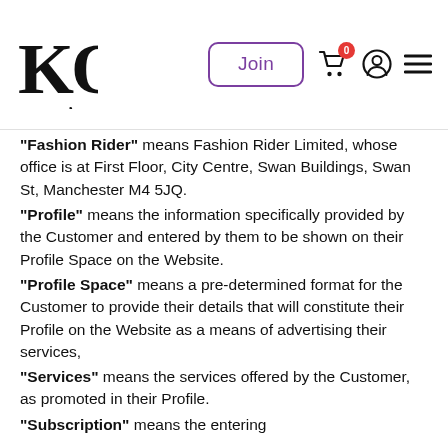KQ — Join button, cart icon with 0 badge, profile icon, menu icon
"Fashion Rider" means Fashion Rider Limited, whose office is at First Floor, City Centre, Swan Buildings, Swan St, Manchester M4 5JQ.
"Profile" means the information specifically provided by the Customer and entered by them to be shown on their Profile Space on the Website.
"Profile Space" means a pre-determined format for the Customer to provide their details that will constitute their Profile on the Website as a means of advertising their services,
"Services" means the services offered by the Customer, as promoted in their Profile.
"Subscription" means the entering